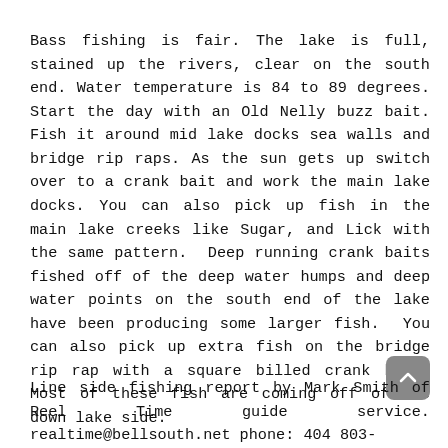Bass fishing is fair. The lake is full, stained up the rivers, clear on the south end. Water temperature is 84 to 89 degrees. Start the day with an Old Nelly buzz bait. Fish it around mid lake docks sea walls and bridge rip raps. As the sun gets up switch over to a crank bait and work the main lake docks. You can also pick up fish in the main lake creeks like Sugar, and Lick with the same pattern.  Deep running crank baits fished off of the deep water humps and deep water points on the south end of the lake have been producing some larger fish.  You can also pick up extra fish on the bridge rip rap with a square billed crank bait. Most of these fish are coming off of the down lake side.
Line side fishing report by Mark Smith of Reel Time guide service. realtime@bellsouth.net phone: 404-803-...